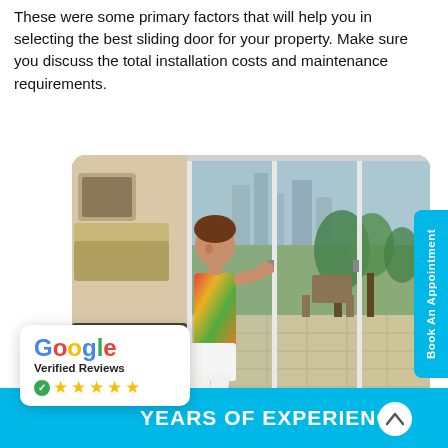These were some primary factors that will help you in selecting the best sliding door for your property. Make sure you discuss the total installation costs and maintenance requirements.
[Figure (photo): A child pushing open a large glass sliding door, with a living room on the left and an outdoor patio visible through the glass panels on the right.]
[Figure (infographic): Google Verified Reviews widget showing 5 gold stars and a green checkmark.]
YEARS OF EXPERIENCE
Book An Appointment